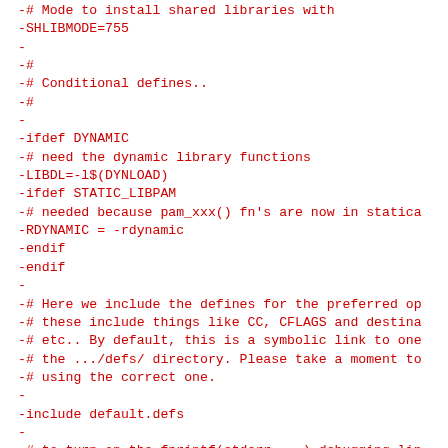-# Mode to install shared libraries with
-SHLIBMODE=755
-
-#
-# Conditional defines..
-#
-
-ifdef DYNAMIC
-# need the dynamic library functions
-LIBDL=-l$(DYNLOAD)
-ifdef STATIC_LIBPAM
-# needed because pam_xxx() fn's are now in statica
-RDYNAMIC = -rdynamic
-endif
-endif
-
-# Here we include the defines for the preferred op
-# these include things like CC, CFLAGS and destina
-# etc.. By default, this is a symbolic link to one
-# the .../defs/ directory. Please take a moment to
-# using the correct one.
-
-include default.defs
-
-# to turn on the fprintf(stderr, ..) debugging lin
-# distribution uncomment this line
-#EXTRAS += -DDEBUG
-
-# For serious memory allocation tracing uncomment
-#MEMORY_DEBUG=-DMEMORY_DEBUG